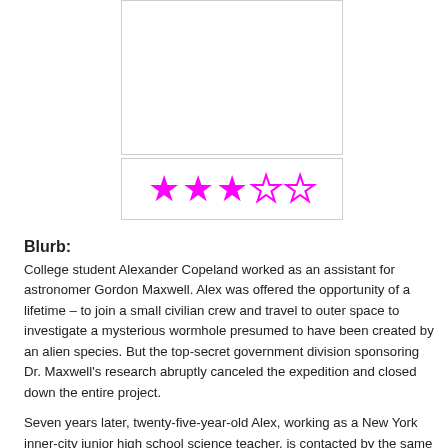[Figure (other): Empty white image placeholder box with light gray border]
[Figure (other): Star rating widget showing 3 out of 5 stars filled in magenta/pink color]
Blurb:
College student Alexander Copeland worked as an assistant for astronomer Gordon Maxwell. Alex was offered the opportunity of a lifetime – to join a small civilian crew and travel to outer space to investigate a mysterious wormhole presumed to have been created by an alien species. But the top-secret government division sponsoring Dr. Maxwell's research abruptly canceled the expedition and closed down the entire project.
Seven years later, twenty-five-year-old Alex, working as a New York inner-city junior high school science teacher, is contacted by the same arrogant government project director who tells him the original space expedition has been revived. Alex is offered a seat on an advanced space shuttle